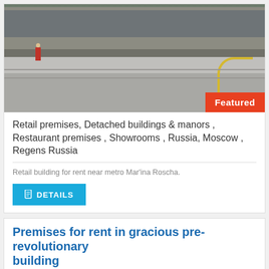[Figure (photo): Exterior photo of a commercial retail building on a wide street, with a person visible on the left, road with yellow lines in the foreground. Featured badge in bottom-right corner.]
Retail premises, Detached buildings & manors , Restaurant premises , Showrooms , Russia, Moscow , Regens Russia
Retail building for rent near metro Mar'ina Roscha.
DETAILS
Premises for rent in gracious pre-revolutionary building
FEATURED